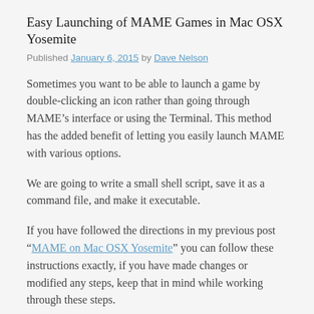Easy Launching of MAME Games in Mac OSX Yosemite
Published January 6, 2015 by Dave Nelson
Sometimes you want to be able to launch a game by double-clicking an icon rather than going through MAME’s interface or using the Terminal. This method has the added benefit of letting you easily launch MAME with various options.
We are going to write a small shell script, save it as a command file, and make it executable.
If you have followed the directions in my previous post “MAME on Mac OSX Yosemite” you can follow these instructions exactly, if you have made changes or modified any steps, keep that in mind while working through these steps.